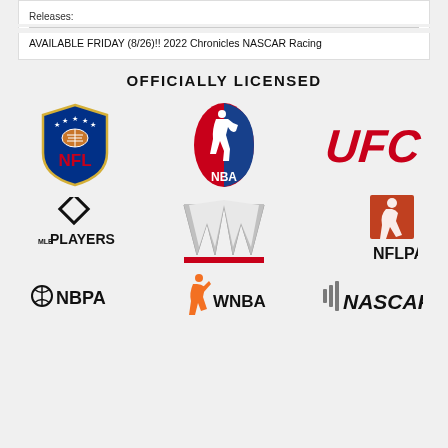Releases:
AVAILABLE FRIDAY (8/26)!! 2022 Chronicles NASCAR Racing
OFFICIALLY LICENSED
[Figure (logo): NFL official shield logo with football and stars]
[Figure (logo): NBA official logo with player silhouette]
[Figure (logo): UFC logo in red italic letters]
[Figure (logo): MLB Players Association logo with diamond and PLAYERS text]
[Figure (logo): WWE logo in silver metallic letters with red underline]
[Figure (logo): NFLPA logo with football player silhouette in orange/red square and NFLPA text]
[Figure (logo): NBPA logo with basketball and NBPA text]
[Figure (logo): WNBA logo with player silhouette and WNBA text]
[Figure (logo): NASCAR logo with diagonal speed lines and NASCAR text]